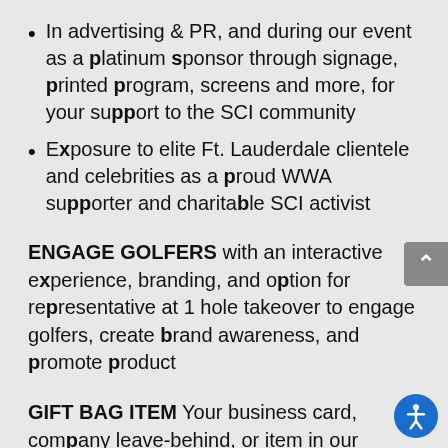In advertising & PR, and during our event as a platinum sponsor through signage, printed program, screens and more, for your support to the SCI community
Exposure to elite Ft. Lauderdale clientele and celebrities as a proud WWA supporter and charitable SCI activist
ENGAGE GOLFERS with an interactive experience, branding, and option for representative at 1 hole takeover to engage golfers, create brand awareness, and promote product
GIFT BAG ITEM Your business card, company leave-behind, or item in our